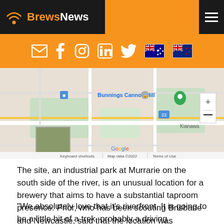BrewsNews
[Figure (map): Google Maps screenshot showing Bunnings Cannon Hill area near Murrarie, Brisbane. Shows street map with green areas, roads, a green location pin, and watermark: Keyboard shortcuts | Map data ©2022 | Terms of Use]
The site, an industrial park at Murrarie on the south side of the river, is an unusual location for a brewery that aims to have a substantial taproom presence. Prior, who has been scouting Brisbane and Newcastle, said that the location was attractive for a number of reasons.
“We absolutely love that it’s riverfront. It is going to be a little bit of a trek, probably a driving destination, but we’re going to have so much car parking